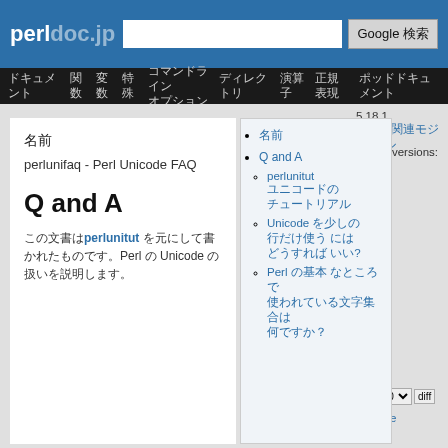perldoc.jp
Google 検索
ドキュメント 関数 変数 特殊 コマンドラインオプション ディレクトリ 演算子 正規表現 ポッドドキュメント
名前
perlunifaq - Perl Unicode FAQ
Q and A
この文書はperlunitut を元に書かれたものです。Perl の Unicode の扱いを説明します。
名前
Q and A
perlunitut ユニコードの チュートリアル Unicode を少しの 行だけ使う にはどうすれば いい?
Perl の基本 なところで使われ ている文字集合は 何ですか？
5.18.1
CPANモジュール
Other versions:
5.36.0
5.34.0
5.32.0
5.30.0
5.28.0
5.26.1
5.24.1
5.22.1
5.20.1
5.16.1
5.14.1
5.12.1
5.10.1
5.10.0
5.36.0 diff
Source